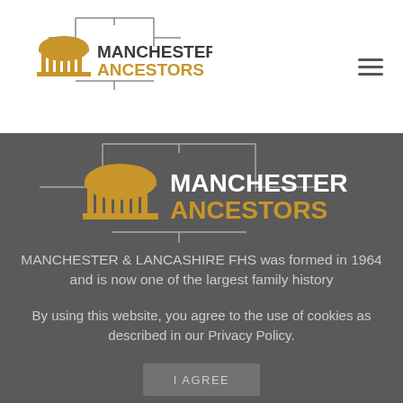[Figure (logo): Manchester Ancestors logo with golden dome building icon and text MANCHESTER ANCESTORS with decorative bracket lines, in header]
[Figure (logo): Manchester Ancestors large logo on dark background with golden dome building icon and text MANCHESTER ANCESTORS with decorative bracket lines]
MANCHESTER & LANCASHIRE FHS was formed in 1964 and is now one of the largest family history
By using this website, you agree to the use of cookies as described in our Privacy Policy.
I AGREE